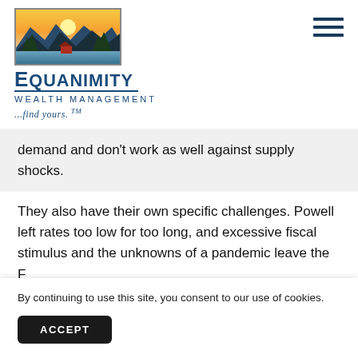[Figure (logo): Equanimity Wealth Management logo with landscape painting (mountains, lake, sunset), company name, and tagline '...find yours. TM']
demand and don't work as well against supply shocks.
They also have their own specific challenges. Powell left rates too low for too long, and excessive fiscal stimulus and the unknowns of a pandemic leave the F[ed...] C[redibility...] re[...uncertain...]
By continuing to use this site, you consent to our use of cookies.
ACCEPT